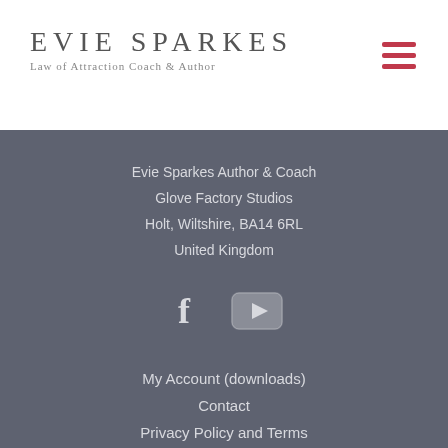Evie Sparkes
Law of Attraction Coach & Author
Evie Sparkes Author & Coach
Glove Factory Studios
Holt, Wiltshire, BA14 6RL
United Kingdom
[Figure (infographic): Facebook icon and YouTube icon social media buttons]
My Account (downloads)
Contact
Privacy Policy and Terms